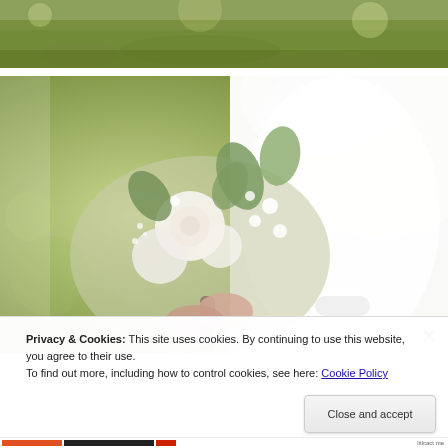[Figure (photo): Top portion of an outdoor photo showing green grass/ground with bokeh background, cropped view]
[Figure (photo): Bride in a white sleeveless dress holding a bouquet of white roses, eucalyptus, and small white flowers, wearing a white wrist corsage, with a ring on her finger, outdoors with green bokeh background]
Privacy & Cookies: This site uses cookies. By continuing to use this website, you agree to their use.
To find out more, including how to control cookies, see here: Cookie Policy
Close and accept